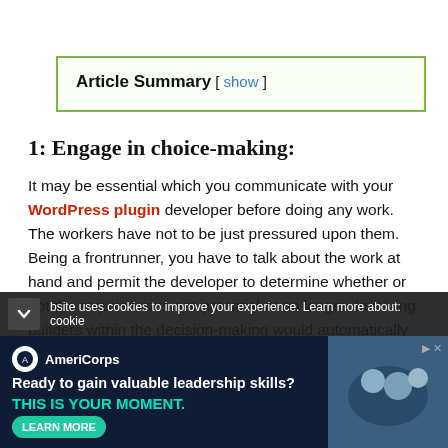Article Summary  [ show ]
1: Engage in choice-making:
It may be essential which you communicate with your WordPress plugin developer before doing any work. The workers have not to be just pressured upon them. Being a frontrunner, you have to talk about the work at hand and permit the developer to determine whether or not the requirements are potential or no longer. Involving builders within the decision-making would automatically cause them to sense the feeling of belonging. And when this feeling is present, the efficiency improves mechanically.
bsite uses cookies to improve your experience. Learn more about: cookie
[Figure (infographic): AmeriCorps advertisement: 'Ready to gain valuable leadership skills? THIS IS YOUR MOMENT.' with a LEARN MORE button and an image of people in the background.]